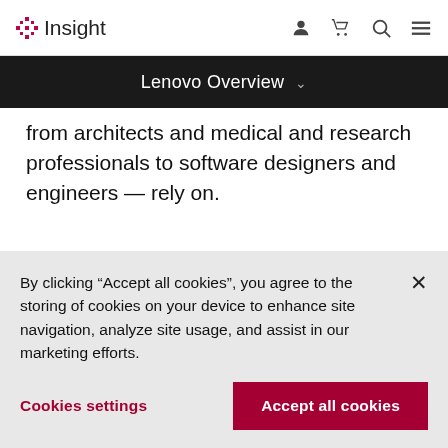Insight [logo] | navigation icons
Lenovo Overview
from architects and medical and research professionals to software designers and engineers — rely on.
Learn more
By clicking “Accept all cookies”, you agree to the storing of cookies on your device to enhance site navigation, analyze site usage, and assist in our marketing efforts.
Cookies settings
Accept all cookies